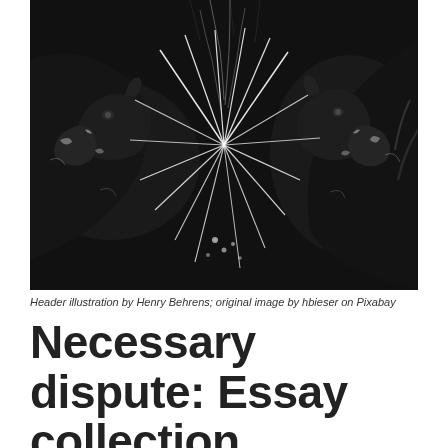[Figure (illustration): Black and white scratchboard or engraving-style illustration showing two goats or deer-like animals with their heads meeting in the center, surrounded by radiating white lines on a dark background. Header illustration by Henry Behrens; original image by hbieser on Pixabay.]
Header illustration by Henry Behrens; original image by hbieser on Pixabay
Necessary dispute: Essay collection teaches the value of